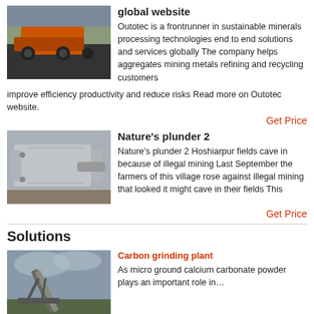global website
Outotec is a frontrunner in sustainable minerals processing technologies end to end solutions and services globally The company helps aggregates mining metals refining and recycling customers improve efficiency productivity and reduce risks Read more on Outotec website.
Get Price
[Figure (photo): Industrial mining/crushing machine (orange) in an outdoor setting]
Nature's plunder 2
Nature's plunder 2 Hoshiarpur fields cave in because of illegal mining Last September the farmers of this village rose against illegal mining that looked it might cave in their fields This
Get Price
[Figure (photo): Industrial machinery component — appears to be a gearbox or drive unit]
Solutions
Carbon grinding plant
As micro ground calcium carbonate powder plays an important role in…
[Figure (photo): Industrial conveyor belt structure at a grinding plant under a cloudy sky]